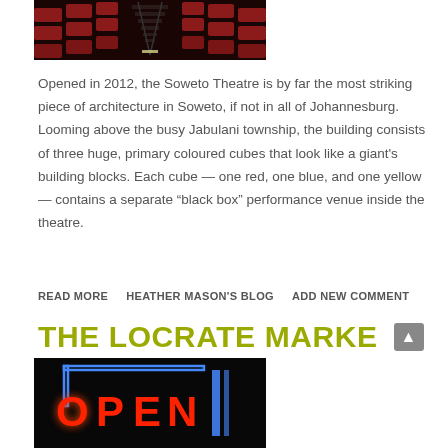[Figure (photo): Theatre interior with red seats viewed from the aisle looking toward the stage, dark dramatic lighting.]
Opened in 2012, the Soweto Theatre is by far the most striking piece of architecture in Soweto, if not in all of Johannesburg. Looming above the busy Jabulani township, the building consists of three huge, primary coloured cubes that look like a giant's building blocks. Each cube — one red, one blue, and one yellow — contains a separate “black box” performance venue inside the theatre.
READ MORE   HEATHER MASON'S BLOG   ADD NEW COMMENT
THE LOCRATE MARKE
[Figure (photo): Neon OPEN sign illuminated in red and blue on a dark background.]